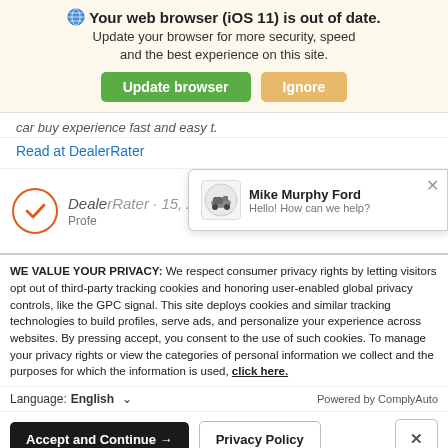[Figure (screenshot): Browser update notification banner with globe icon, bold text 'Your web browser (iOS 11) is out of date.', subtitle text, green 'Update browser' button and orange 'Ignore' button on cream background]
car buy experience fast and easy t.
Read at DealerRater
[Figure (screenshot): DealerRater section with orange checkmark circle on left, partial heading text, and a chat popup overlay showing Mike Murphy Ford logo and 'Hello! How can we help?' text with X close button]
WE VALUE YOUR PRIVACY: We respect consumer privacy rights by letting visitors opt out of third-party tracking cookies and honoring user-enabled global privacy controls, like the GPC signal. This site deploys cookies and similar tracking technologies to build profiles, serve ads, and personalize your experience across websites. By pressing accept, you consent to the use of such cookies. To manage your privacy rights or view the categories of personal information we collect and the purposes for which the information is used, click here.
Language: English ∨   Powered by ComplyAuto
Accept and Continue → Privacy Policy ×